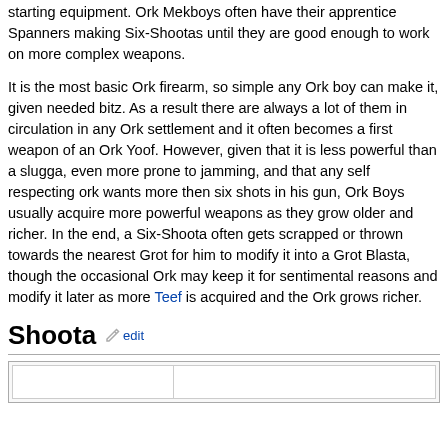starting equipment. Ork Mekboys often have their apprentice Spanners making Six-Shootas until they are good enough to work on more complex weapons.
It is the most basic Ork firearm, so simple any Ork boy can make it, given needed bitz. As a result there are always a lot of them in circulation in any Ork settlement and it often becomes a first weapon of an Ork Yoof. However, given that it is less powerful than a slugga, even more prone to jamming, and that any self respecting ork wants more then six shots in his gun, Ork Boys usually acquire more powerful weapons as they grow older and richer. In the end, a Six-Shoota often gets scrapped or thrown towards the nearest Grot for him to modify it into a Grot Blasta, though the occasional Ork may keep it for sentimental reasons and modify it later as more Teef is acquired and the Ork grows richer.
Shoota